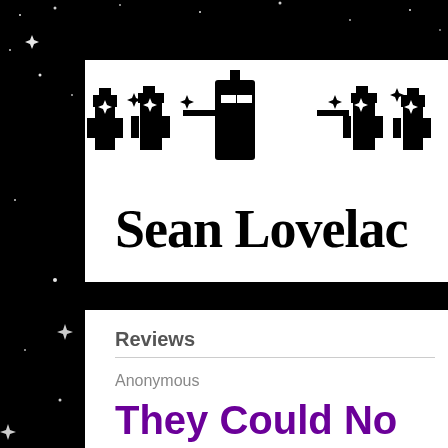[Figure (logo): Decorative logo bar with star and cityscape silhouette shapes in black and white]
Sean Lovelac
Reviews
Anonymous
They Could No Contain Them